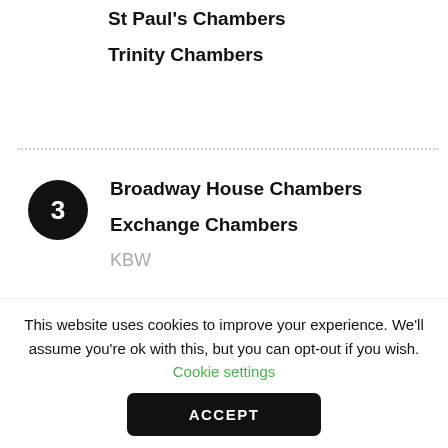St Paul's Chambers
Trinity Chambers
Broadway House Chambers
Exchange Chambers
KBW
[Figure (other): Rankings Tables button/box with light blue background]
This website uses cookies to improve your experience. We'll assume you're ok with this, but you can opt-out if you wish. Cookie settings
ACCEPT